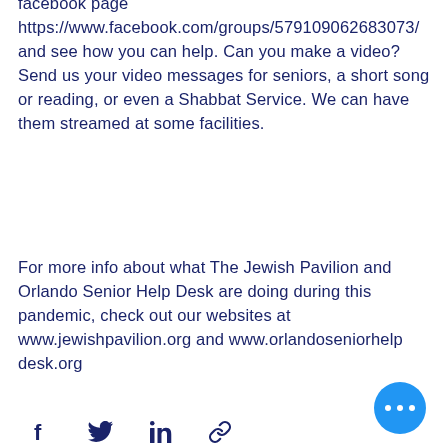facebook page https://www.facebook.com/groups/579109062683073/ and see how you can help. Can you make a video? Send us your video messages for seniors, a short song or reading, or even a Shabbat Service. We can have them streamed at some facilities.
For more info about what The Jewish Pavilion and Orlando Senior Help Desk are doing during this pandemic, check out our websites at www.jewishpavilion.org and www.orlandoseniorhelp desk.org
[Figure (other): Social media share bar with Facebook, Twitter, LinkedIn, and link icons, plus a blue circular more-options button with three dots]